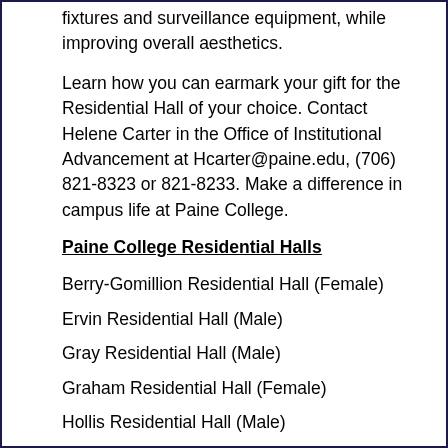fixtures and surveillance equipment, while improving overall aesthetics.
Learn how you can earmark your gift for the Residential Hall of your choice. Contact Helene Carter in the Office of Institutional Advancement at Hcarter@paine.edu, (706) 821-8323 or 821-8233. Make a difference in campus life at Paine College.
Paine College Residential Halls
Berry-Gomillion Residential Hall (Female)
Ervin Residential Hall (Male)
Gray Residential Hall (Male)
Graham Residential Hall (Female)
Hollis Residential Hall (Male)